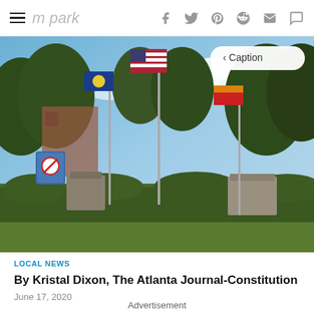park — social share icons (f, twitter, pinterest, reddit, mail, comment)
[Figure (photo): Outdoor park scene with three flagpoles flying the US flag, Georgia state flag, and another flag, surrounded by trees and hedges, with stone monuments in the foreground and a no-smoking sign on the left. A 'Caption' button is visible in the top-right corner of the image.]
LOCAL NEWS
By Kristal Dixon, The Atlanta Journal-Constitution
June 17, 2020
Advertisement